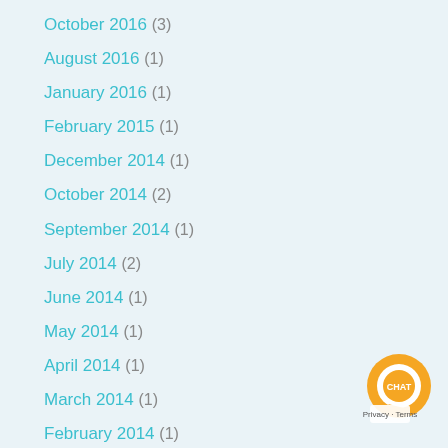October 2016 (3)
August 2016 (1)
January 2016 (1)
February 2015 (1)
December 2014 (1)
October 2014 (2)
September 2014 (1)
July 2014 (2)
June 2014 (1)
May 2014 (1)
April 2014 (1)
March 2014 (1)
February 2014 (1)
January 2014 (2)
December 2013 (1)
November 2013 (2)